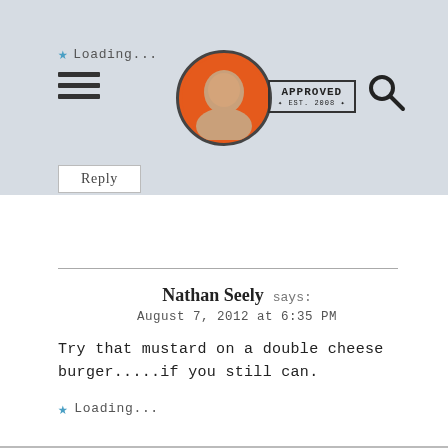Loading... [hamburger menu] [logo] APPROVED EST. 2008 [search icon] Reply
Nathan Seely says:
August 7, 2012 at 6:35 PM

Try that mustard on a double cheese burger.....if you still can.

★ Loading...

↑ Reply